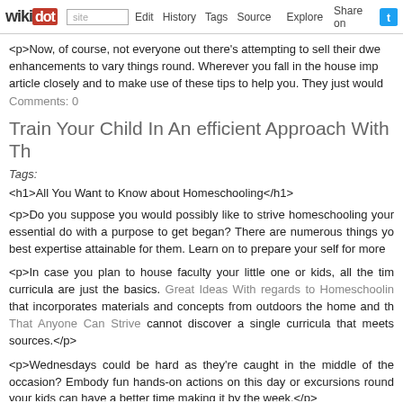wikidot | site | Edit | History | Tags | Source | Explore | Share on [Twitter]
<p>Now, of course, not everyone out there's attempting to sell their dwe enhancements to vary things round. Wherever you fall in the house imp article closely and to make use of these tips to help you. They just would
Comments: 0
Train Your Child In An efficient Approach With Th
Tags:
<h1>All You Want to Know about Homeschooling</h1>
<p>Do you suppose you would possibly like to strive homeschooling your essential do with a purpose to get began? There are numerous things yo best expertise attainable for them. Learn on to prepare your self for more
<p>In case you plan to house faculty your little one or kids, all the tim curricula are just the basics. Great Ideas With regards to Homeschoolin that incorporates materials and concepts from outdoors the home and th That Anyone Can Strive cannot discover a single curricula that meets sources.</p>
<p>Wednesdays could be hard as they're caught in the middle of the occasion? Embody fun hands-on actions on this day or excursions round your kids can have a better time making it by the week.</p>
<p>Work out what motivates your youngsters. The identical factor motivational instrument for each youngster and use it. Keep your rewards undertaking every of their faculty goals for the year. They are going to